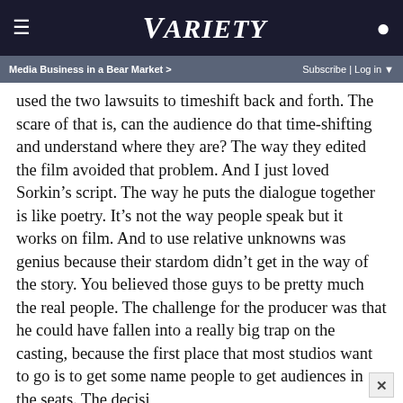VARIETY
Media Business in a Bear Market > | Subscribe | Log in
used the two lawsuits to timeshift back and forth. The scare of that is, can the audience do that time-shifting and understand where they are? The way they edited the film avoided that problem. And I just loved Sorkin’s script. The way he puts the dialogue together is like poetry. It’s not the way people speak but it works on film. And to use relative unknowns was genius because their stardom didn’t get in the way of the story. You believed those guys to be pretty much the real people. The challenge for the producer was that he could have fallen into a really big trap on the casting, because the first place that most studios want to go is to get some name people to get audiences in the seats. The decisi